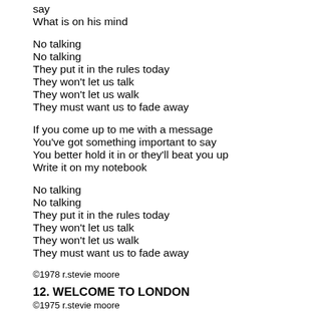say
What is on his mind
No talking
No talking
They put it in the rules today
They won't let us talk
They won't let us walk
They must want us to fade away
If you come up to me with a message
You've got something important to say
You better hold it in or they'll beat you up
Write it on my notebook
No talking
No talking
They put it in the rules today
They won't let us talk
They won't let us walk
They must want us to fade away
©1978 r.stevie moore
12. WELCOME TO LONDON
©1975 r.stevie moore